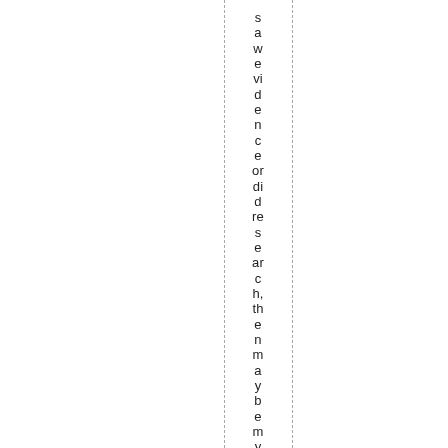saw evidence or did research, then many be em y th